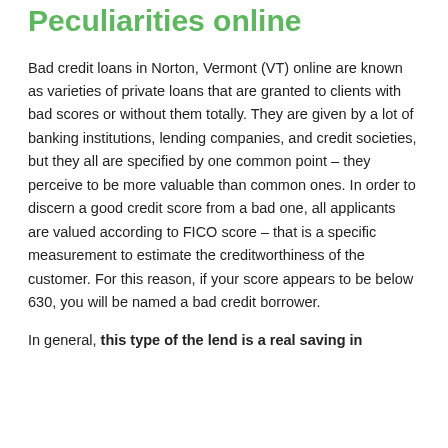Peculiarities online
Bad credit loans in Norton, Vermont (VT) online are known as varieties of private loans that are granted to clients with bad scores or without them totally. They are given by a lot of banking institutions, lending companies, and credit societies, but they all are specified by one common point – they perceive to be more valuable than common ones. In order to discern a good credit score from a bad one, all applicants are valued according to FICO score – that is a specific measurement to estimate the creditworthiness of the customer. For this reason, if your score appears to be below 630, you will be named a bad credit borrower.
In general, this type of the lend is a real saving in